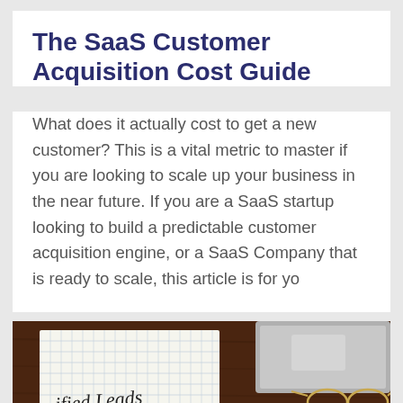The SaaS Customer Acquisition Cost Guide
What does it actually cost to get a new customer? This is a vital metric to master if you are looking to scale up your business in the near future. If you are a SaaS startup looking to build a predictable customer acquisition engine, or a SaaS Company that is ready to scale, this article is for yo
[Figure (photo): Photo of a notepad with handwritten text 'ified Leads' underlined in red, alongside a laptop and glasses on a dark brown wooden desk surface.]